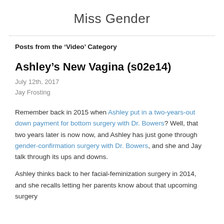Miss Gender
Posts from the ‘Video’ Category
Ashley’s New Vagina (s02e14)
July 12th, 2017
Jay Frosting
Remember back in 2015 when Ashley put in a two-years-out down payment for bottom surgery with Dr. Bowers? Well, that two years later is now now, and Ashley has just gone through gender-confirmation surgery with Dr. Bowers, and she and Jay talk through its ups and downs.
Ashley thinks back to her facial-feminization surgery in 2014, and she recalls letting her parents know about that upcoming surgery